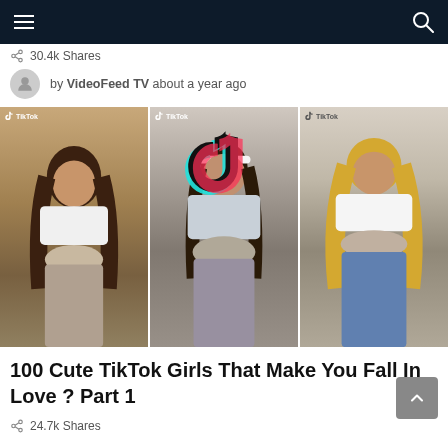Navigation bar with menu and search icons
30.4k Shares
by VideoFeed TV   about a year ago
[Figure (photo): Three TikTok video thumbnails side by side showing young women, with TikTok logo overlay on the center-left area]
100 Cute TikTok Girls That Make You Fall In Love ? Part 1
24.7k Shares